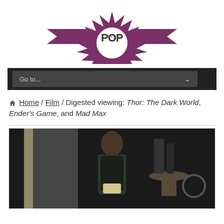[Figure (logo): PopVerse logo with burst/star shape and ribbon banners on sides, purple color scheme]
Go to...
Home / Film / Digested viewing: Thor: The Dark World, Ender's Game, and Mad Max
[Figure (photo): A person with dark hair reading a book, standing near a round metal table in a dark interior scene]